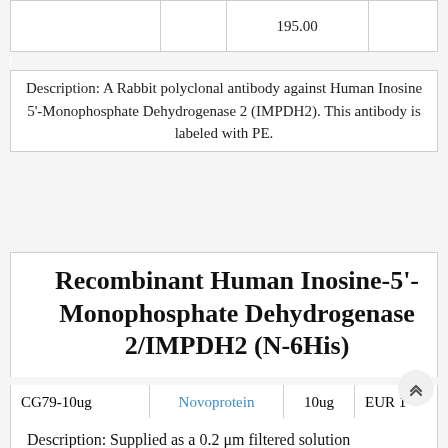|  |  | Price |  |
| --- | --- | --- | --- |
|  |  | 195.00 |  |
Description: A Rabbit polyclonal antibody against Human Inosine 5'-Monophosphate Dehydrogenase 2 (IMPDH2). This antibody is labeled with PE.
Recombinant Human Inosine-5'-Monophosphate Dehydrogenase 2/IMPDH2 (N-6His)
| CG79-10ug | Novoprotein | 10ug | EUR 1 |
| --- | --- | --- | --- |
Description: Supplied as a 0.2 μm filtered solution